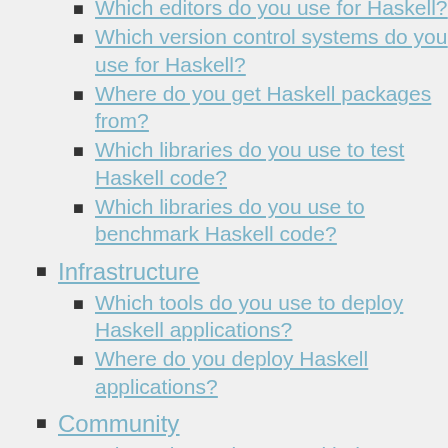Which editors do you use for Haskell?
Which version control systems do you use for Haskell?
Where do you get Haskell packages from?
Which libraries do you use to test Haskell code?
Which libraries do you use to benchmark Haskell code?
Infrastructure
Which tools do you use to deploy Haskell applications?
Where do you deploy Haskell applications?
Community
Where do you interact with the Haskell community?
Which of the following Haskell topics would you like to see more written about?
Feelings
I feel welcome in the Haskell community.
I am satisfied with Haskell as a language.